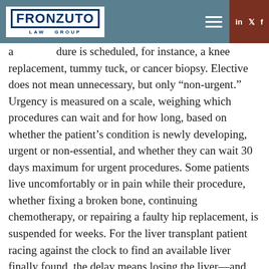Fronzuto Law Group
a dure is scheduled, for instance, a knee replacement, tummy tuck, or cancer biopsy. Elective does not mean unnecessary, but only “non-urgent.” Urgency is measured on a scale, weighing which procedures can wait and for how long, based on whether the patient’s condition is newly developing, urgent or non-essential, and whether they can wait 30 days maximum for urgent procedures. Some patients live uncomfortably or in pain while their procedure, whether fixing a broken bone, continuing chemotherapy, or repairing a faulty hip replacement, is suspended for weeks. For the liver transplant patient racing against the clock to find an available liver finally found, the delay means losing the liver—and probably their life. In the meantime, they